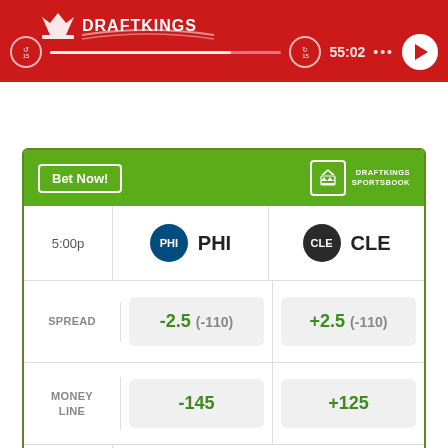[Figure (screenshot): Red podcast/audio player banner with DraftKings logo, progress bar showing 55:02, and play button]
|  | PHI | CLE |
| --- | --- | --- |
| 5:00p | PHI | CLE |
| SPREAD | -2.5 (-110) | +2.5 (-110) |
| MONEY LINE | -145 | +125 |
| OVER UNDER | > 35 (-110) / < 35 (-110) |  |
Odds/Lines subject to change. See draftkings.com for details.